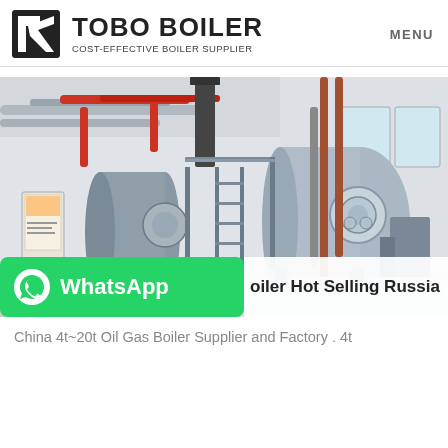TOBO BOILER — COST-EFFECTIVE BOILER SUPPLIER | MENU
[Figure (photo): Industrial boiler room with large horizontal cylindrical oil/gas boilers, piping (red and silver), metal walkways, and a chimney stack inside a white industrial building.]
Oil Gas Boiler Hot Selling Russia
China 4t~20t Oil Gas Boiler Supplier and Factory . 4t